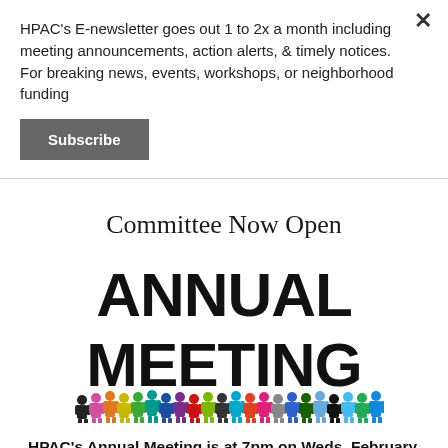HPAC's E-newsletter goes out 1 to 2x a month including meeting announcements, action alerts, & timely notices. For breaking news, events, workshops, or neighborhood funding
Subscribe
Committee Now Open
[Figure (illustration): Annual Meeting graphic with bold text 'ANNUAL MEETING' and a row of colorful silhouette people figures beneath]
HPAC's Annual Meeting is at 7pm on Weds. February 26, 2020 at Highland Park Improvement Club